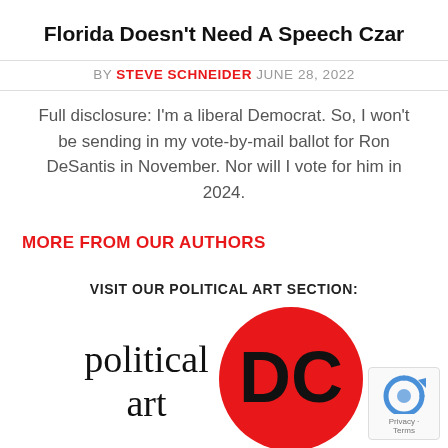Florida Doesn't Need A Speech Czar
BY STEVE SCHNEIDER JUNE 28, 2022
Full disclosure: I'm a liberal Democrat. So, I won't be sending in my vote-by-mail ballot for Ron DeSantis in November. Nor will I vote for him in 2024.
MORE FROM OUR AUTHORS
VISIT OUR POLITICAL ART SECTION:
[Figure (logo): Political Art DC logo: text 'political art' in serif font alongside a red circle with 'DC' in bold black letters]